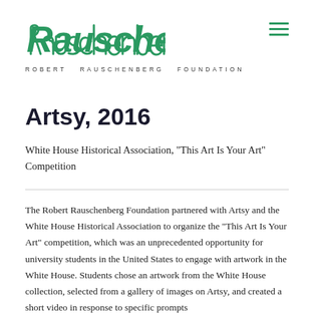[Figure (logo): Robert Rauschenberg Foundation handwritten green script logo with text 'ROBERT RAUSCHENBERG FOUNDATION' below]
Artsy, 2016
White House Historical Association, “This Art Is Your Art” Competition
The Robert Rauschenberg Foundation partnered with Artsy and the White House Historical Association to organize the “This Art Is Your Art” competition, which was an unprecedented opportunity for university students in the United States to engage with artwork in the White House. Students chose an artwork from the White House collection, selected from a gallery of images on Artsy, and created a short video in response to specific prompts